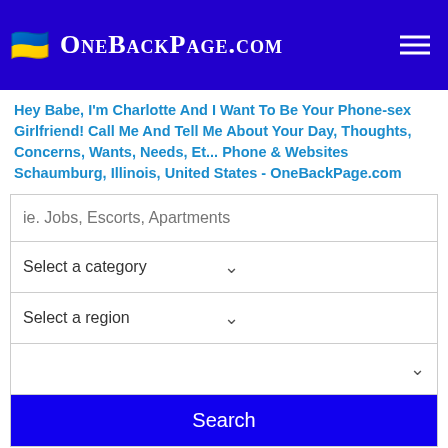OneBackPage.com
Hey Babe, I'm Charlotte And I Want To Be Your Phone-sex Girlfriend! Call Me And Tell Me About Your Day, Thoughts, Concerns, Wants, Needs, Et... Phone & Websites Schaumburg, Illinois, United States - OneBackPage.com
ie. Jobs, Escorts, Apartments
Select a category
Select a region
Search
🎥 Live Sex   ♀ Hook Up Now   ♀ Sugar Baby For Daddies   ♂ Shemale Live Cams
Home » Illinois » Schaumburg » Personal